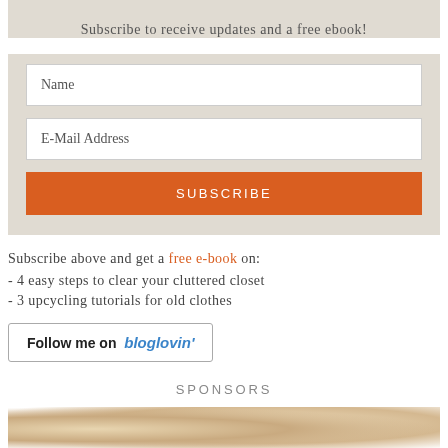Subscribe to receive updates and a free ebook!
Name
E-Mail Address
SUBSCRIBE
Subscribe above and get a free e-book on:
- 4 easy steps to clear your cluttered closet
- 3 upcycling tutorials for old clothes
[Figure (logo): Follow me on bloglovin' button with rounded border]
SPONSORS
[Figure (photo): Sponsor photo showing a person with blonde hair, partially cropped]